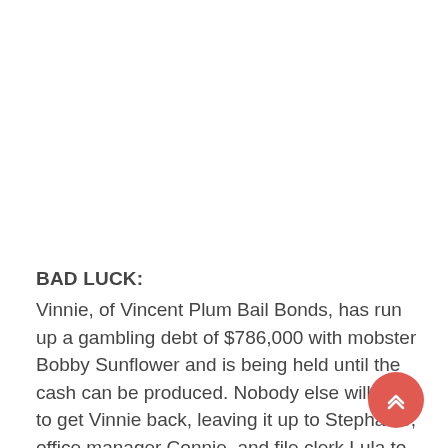BAD LUCK:
Vinnie, of Vincent Plum Bail Bonds, has run up a gambling debt of $786,000 with mobster Bobby Sunflower and is being held until the cash can be produced. Nobody else will pay to get Vinnie back, leaving it up to Stephanie, office manager Connie, and file clerk Lula to raise the money if they want to save their jobs.